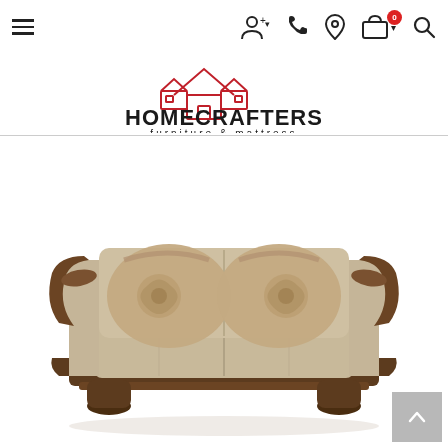Navigation bar with hamburger menu, user icon, phone, location, cart (0), search
[Figure (logo): Homecrafters Furniture & Mattress logo: red house outline illustration above text 'HOMECRAFTERS furniture & mattress']
[Figure (photo): A beige/tan fabric loveseat sofa with dark walnut-colored wood trim on the arms and feet, decorated with two floral patterned throw pillows]